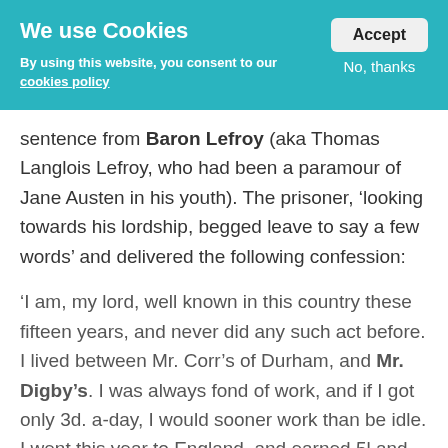We use Cookies
By using this website, you consent to our cookies policy
sentence from Baron Lefroy (aka Thomas Langlois Lefroy, who had been a paramour of Jane Austen in his youth). The prisoner, ‘looking towards his lordship, begged leave to say a few words’ and delivered the following confession:
‘I am, my lord, well known in this country these fifteen years, and never did any such act before. I lived between Mr. Corr’s of Durham, and Mr. Digby’s. I was always fond of work, and if I got only 3d. a-day, I would sooner work than be idle. I went this year to England, and earned 5l and sent 30s of it home to my wife. Mr.